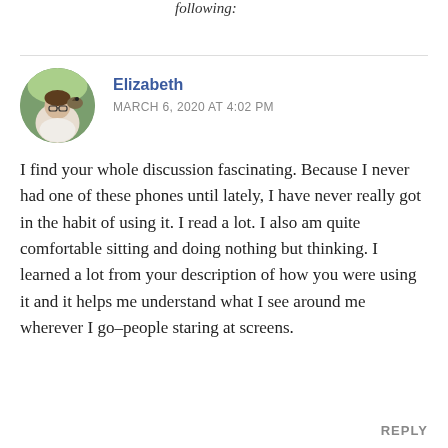following:
[Figure (photo): Circular avatar photo of Elizabeth, a woman with glasses outdoors with a bird of prey perched near her, green foliage in background]
Elizabeth
MARCH 6, 2020 AT 4:02 PM
I find your whole discussion fascinating. Because I never had one of these phones until lately, I have never really got in the habit of using it. I read a lot. I also am quite comfortable sitting and doing nothing but thinking. I learned a lot from your description of how you were using it and it helps me understand what I see around me wherever I go–people staring at screens.
REPLY